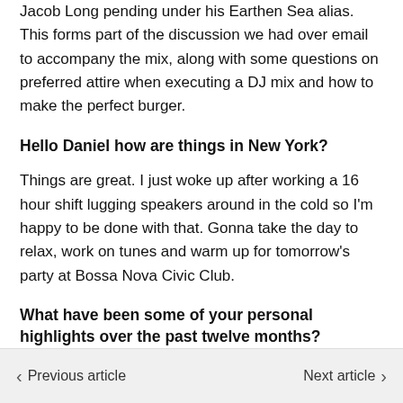Jacob Long pending under his Earthen Sea alias. This forms part of the discussion we had over email to accompany the mix, along with some questions on preferred attire when executing a DJ mix and how to make the perfect burger.
Hello Daniel how are things in New York?
Things are great. I just woke up after working a 16 hour shift lugging speakers around in the cold so I'm happy to be done with that. Gonna take the day to relax, work on tunes and warm up for tomorrow's party at Bossa Nova Civic Club.
What have been some of your personal highlights over the past twelve months? Releasing with Jamal on Planet Mu and that
← Previous article   Next article →